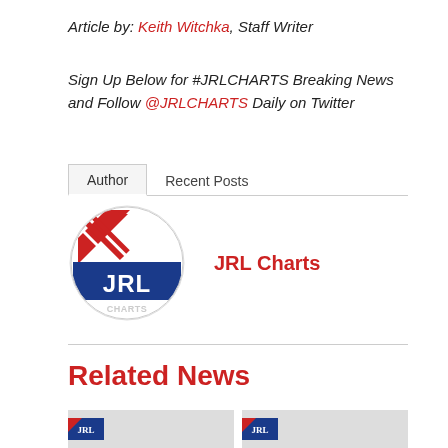Article by: Keith Witchka, Staff Writer
Sign Up Below for #JRLCHARTS Breaking News and Follow @JRLCHARTS Daily on Twitter
Author   Recent Posts
[Figure (logo): JRL Charts circular logo with red/blue diagonal stripes and JRL CHARTS text]
JRL Charts
Related News